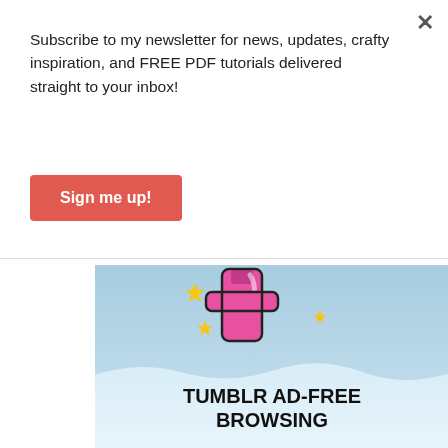×
Subscribe to my newsletter for news, updates, crafty inspiration, and FREE PDF tutorials delivered straight to your inbox!
Sign me up!
[Figure (screenshot): Tumblr Ad-Free Browsing advertisement banner with pink Tumblr logo on blue sky background]
REPORT THIS AD
All of the supplies can be found in my online shop located at melissaskre8tions.stampinup.net
Please don't forget to use the current hostess code, and receive a thank you card from me next